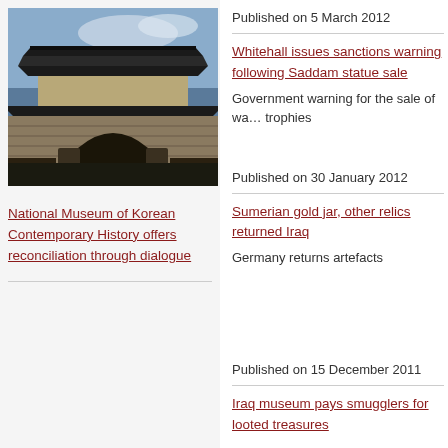[Figure (photo): Photograph of a traditional Korean gate building with stone archway]
National Museum of Korean Contemporary History offers reconciliation through dialogue
Published on 5 March 2012
Whitehall issues sanctions warning following Saddam statue sale
Government warning for the sale of war trophies
Published on 30 January 2012
Sumerian gold jar, other relics returned Iraq
Germany returns artefacts
Published on 15 December 2011
Iraq museum pays smugglers for looted treasures